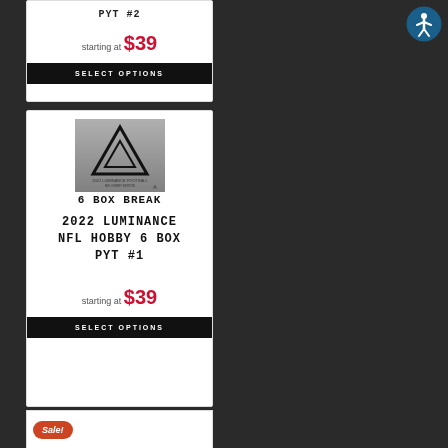PYT #2
starting at $39
SELECT OPTIONS
[Figure (photo): 2022 Luminance NFL Hobby box product image with triangle logo on gray background]
6 BOX BREAK
2022 LUMINANCE NFL HOBBY 6 BOX PYT #1
starting at $39
SELECT OPTIONS
Sale!
[Figure (photo): Accessibility icon button - blue circle with white figure]